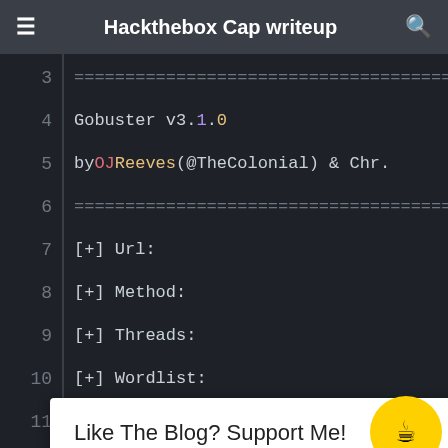Hackthebox Cap writeup
[Figure (screenshot): Terminal screenshot showing Gobuster v3.1.0 output with configuration parameters: Url (http), Method (GET), Threads (50), Wordlist (/usr...), Negative Status codes (404), User Agent (gobu...), Timeout (10s), and partial lines 14-18 with a popup overlay 'Like The Blog? Support Me!' and a yellow coffee cup button]
Like The Blog? Support Me!